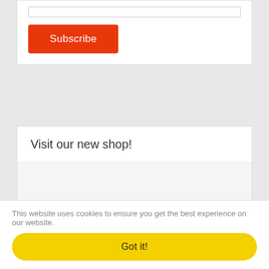[Figure (screenshot): Input field (email or text box) at top of a subscription form card]
Subscribe
Visit our new shop!
This website uses cookies to ensure you get the best experience on our website.
Got it!